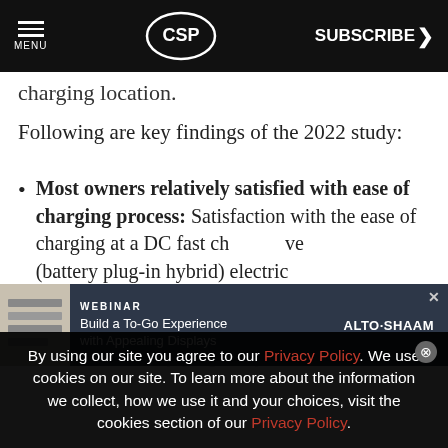MENU | CSP | SUBSCRIBE >
charging location.
Following are key findings of the 2022 study:
Most owners relatively satisfied with ease of charging process: Satisfaction with the ease of charging at a DC fast ch... ve... (battery plug-in hybrid) electric
[Figure (other): Advertisement banner: WEBINAR - Build a To-Go Experience with Appealing Displays, ALTO-SHAAM logo]
By using our site you agree to our Privacy Policy. We use cookies on our site. To learn more about the information we collect, how we use it and your choices, visit the cookies section of our Privacy Policy.